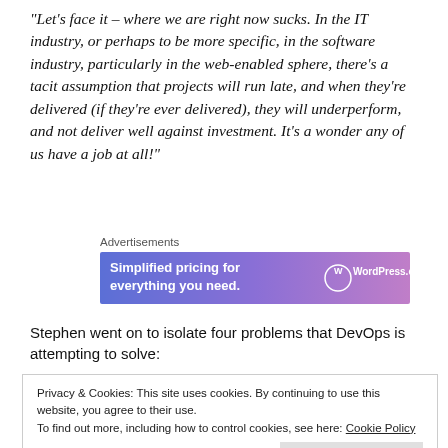“Let’s face it – where we are right now sucks. In the IT industry, or perhaps to be more specific, in the software industry, particularly in the web-enabled sphere, there’s a tacit assumption that projects will run late, and when they’re delivered (if they’re ever delivered), they will underperform, and not deliver well against investment. It’s a wonder any of us have a job at all!”
[Figure (other): WordPress.com advertisement banner with blue-to-purple gradient background reading 'Simplified pricing for everything you need.' with WordPress.com logo]
Stephen went on to isolate four problems that DevOps is attempting to solve:
Privacy & Cookies: This site uses cookies. By continuing to use this website, you agree to their use.
To find out more, including how to control cookies, see here: Cookie Policy
2. Risky deployments (Will it work under load? So, we push it out